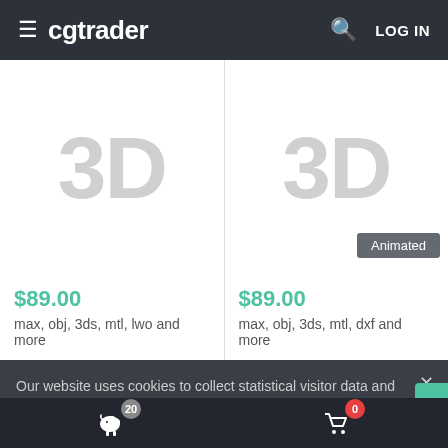cgtrader  LOG IN
[Figure (screenshot): Product card showing 3D model placeholder with price $89.00 and formats: max, obj, 3ds, mtl, lwo and more]
[Figure (screenshot): Product card showing 3D animated model placeholder with Animated badge, price $89.00 and formats: max, obj, 3ds, mtl, dxf and more]
Our website uses cookies to collect statistical visitor data and track interaction with direct marketing communication / improve our website and improve your browsing experience. Please see our Cookie Notice for more information about cookies, data they collect, who may access them, and your rights. Learn more
20  0